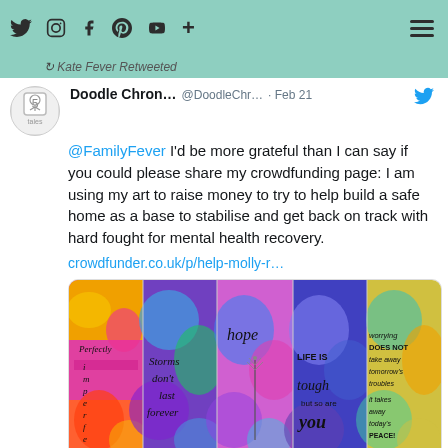Twitter navigation bar with icons: Twitter bird, Instagram, Facebook, Pinterest, YouTube, plus sign, and hamburger menu
Kate Fever Retweeted
Doodle Chron... @DoodleChr... · Feb 21
@FamilyFever I'd be more grateful than I can say if you could please share my crowdfunding page: I am using my art to raise money to try to help build a safe home as a base to stabilise and get back on track with hard fought for mental health recovery.
crowdfunder.co.uk/p/help-molly-r…
[Figure (photo): Five colorful watercolor bookmarks with handwritten inspirational quotes: 'Perfectly Imperfect', 'Storms don't last forever', 'hope', 'LIFE IS tough but so are you', 'worrying DOES NOT take away tomorrow's troubles it takes away today's PEACE!']
crowdfunder.co.uk
Help Molly Rebuild Health & Home, get